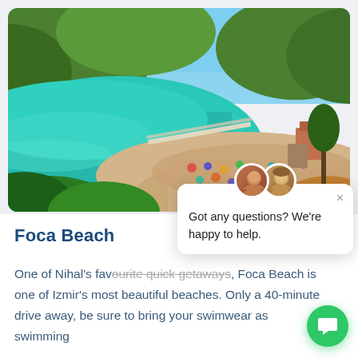[Figure (photo): Aerial view of Foca Beach showing turquoise sea water, sandy beach with umbrellas and sun loungers, a pier, and green wooded hills in the background.]
Foca Beach
One of Nihal's favourite quick getaways, Foca Beach is one of Izmir's most beautiful beaches. Only a 40-minute drive away, be sure to bring your swimwear as swimming
[Figure (screenshot): Chat popup overlay with two agent avatars, a close (X) button, and the message: Got any questions? We're happy to help. A green circular chat button is visible at the bottom right.]